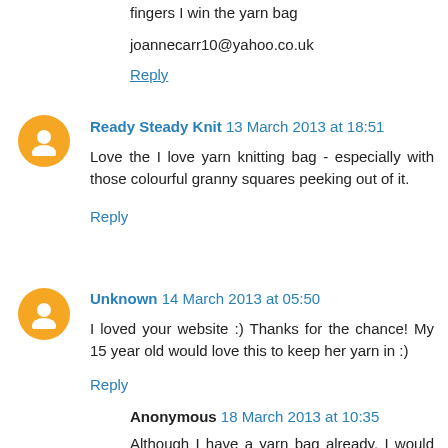fingers I win the yarn bag
joannecarr10@yahoo.co.uk
Reply
Ready Steady Knit 13 March 2013 at 18:51
Love the I love yarn knitting bag - especially with those colourful granny squares peeking out of it.
Reply
Unknown 14 March 2013 at 05:50
I loved your website :) Thanks for the chance! My 15 year old would love this to keep her yarn in :)
Reply
Anonymous 18 March 2013 at 10:35
Although I have a yarn bag already, I would love to have